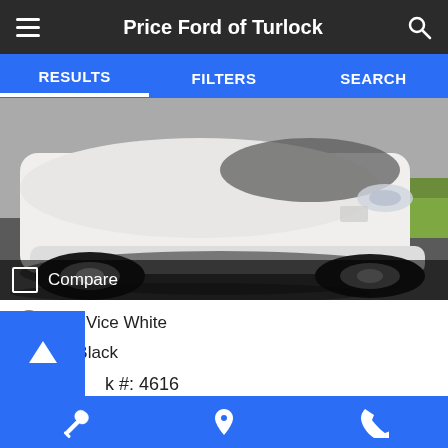Price Ford of Turlock
RESULTS   FILTERS   SEARCH
[Figure (photo): White Dodge Journey SUV photographed from the front-left angle in a parking lot on a sunny day. A partial grass lawn is visible on the right side.]
Compare
Ext: Vice White
Int: Black
k #: 4616
49 mi.
Online Sale Price   $16,499